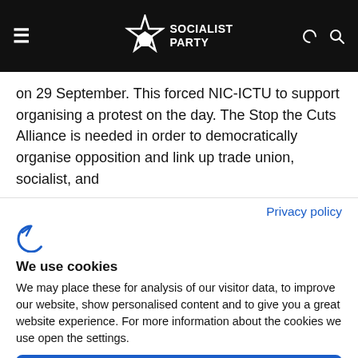Socialist Party
on 29 September. This forced NIC-ICTU to support organising a protest on the day. The Stop the Cuts Alliance is needed in order to democratically organise opposition and link up trade union, socialist, and
Privacy policy
[Figure (logo): Complianz cookie consent logo icon (circular arrow)]
We use cookies
We may place these for analysis of our visitor data, to improve our website, show personalised content and to give you a great website experience. For more information about the cookies we use open the settings.
Accept all
Deny
No, adjust